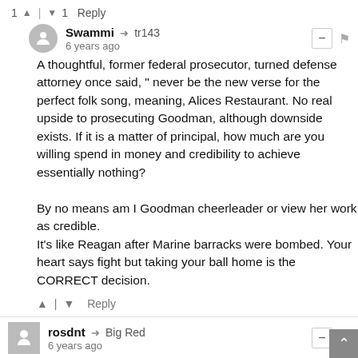1 ▲ | ▼ 1   Reply
Swammi → tr143
6 years ago
A thoughtful, former federal prosecutor, turned defense attorney once said, " never be the new verse for the perfect folk song, meaning, Alices Restaurant. No real upside to prosecuting Goodman, although downside exists. If it is a matter of principal, how much are you willing spend in money and credibility to achieve essentially nothing?

By no means am I Goodman cheerleader or view her work as credible.
It's like Reagan after Marine barracks were bombed. Your heart says fight but taking your ball home is the CORRECT decision.
▲ | ▼   Reply
rosdnt → Big Red
6 years ago
Ladd Erickson is a publicity hound looking to make a